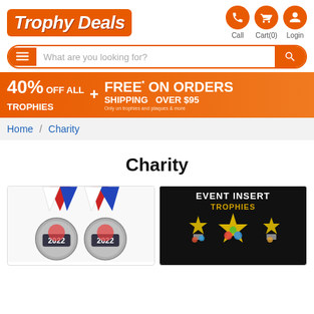[Figure (logo): Trophy Deals logo in orange italic bold text on orange background]
[Figure (infographic): Navigation icons: Call (phone), Cart(0) (shopping cart), Login (person) — orange circles with white icons]
What are you looking for?
[Figure (infographic): Promotional banner: 40% OFF ALL TROPHIES + FREE* SHIPPING ON ORDERS OVER $95]
Home / Charity
Charity
[Figure (photo): Charity medals with red/white/blue ribbons and 2022 text, colorful round medals]
[Figure (photo): Event Insert Trophies — black banner with gold star trophies and colorful inserts]